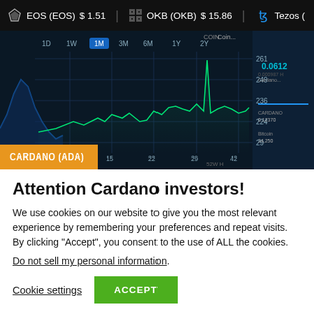EOS (EOS) $1.51   OKB (OKB) $15.86   Tezos (
[Figure (screenshot): Screenshot of a cryptocurrency price chart app showing a coin price chart with time period selectors (1D, 1W, 1M, 3M, 6M, 1Y, 2Y), a green line chart showing price movements with a spike to 261, and values 249, 236, 224 on y-axis and dates 8, 15, 22, 29 on x-axis. Right side shows price 0.0612. Bottom left has an orange 'CARDANO (ADA)' label.]
Attention Cardano investors!
We use cookies on our website to give you the most relevant experience by remembering your preferences and repeat visits. By clicking “Accept”, you consent to the use of ALL the cookies.
Do not sell my personal information.
Cookie settings   ACCEPT